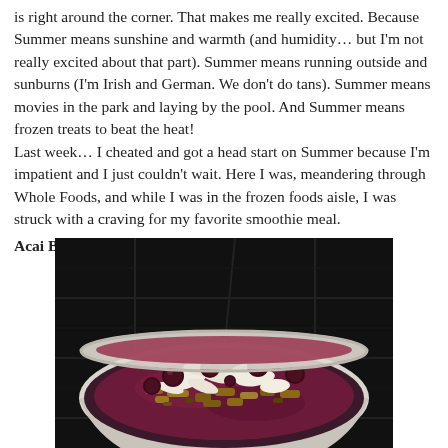is right around the corner. That makes me really excited. Because Summer means sunshine and warmth (and humidity… but I'm not really excited about that part). Summer means running outside and sunburns (I'm Irish and German. We don't do tans). Summer means movies in the park and laying by the pool. And Summer means frozen treats to beat the heat! Last week… I cheated and got a head start on Summer because I'm impatient and I just couldn't wait. Here I was, meandering through Whole Foods, and while I was in the frozen foods aisle, I was struck with a craving for my favorite smoothie meal.
Acai Bowls.
[Figure (photo): A white ceramic bowl filled with an acai smoothie bowl topped with granola, coconut flakes, and dark cherries, photographed on a dark tiled surface.]